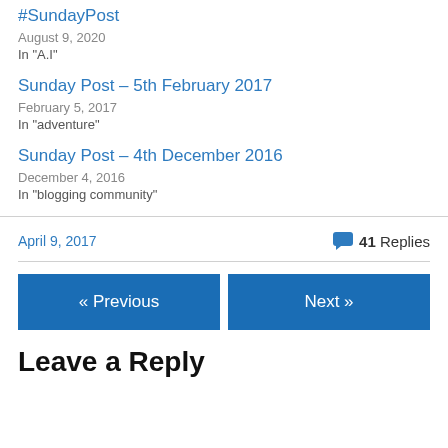#SundayPost
August 9, 2020
In "A.I"
Sunday Post – 5th February 2017
February 5, 2017
In "adventure"
Sunday Post – 4th December 2016
December 4, 2016
In "blogging community"
April 9, 2017
41 Replies
« Previous
Next »
Leave a Reply